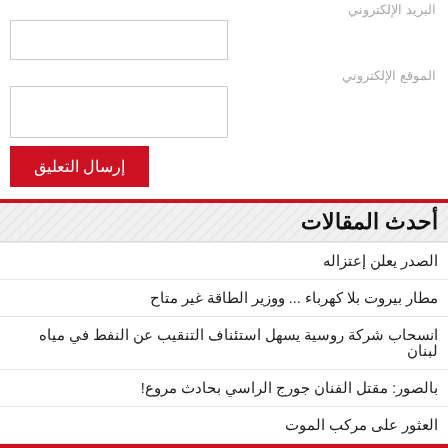البريد الإلكتروني
الموقع الإلكتروني
إرسال التعليق
أحدث المقالات
الصدر يعلن إعتزاله
مطار بيروت بلا كهرباء ... ووزير الطاقة غير متاح
انسحاب شركة روسية يسهل استئناف التنقيب عن النفط في مياه لبنان
بالصور: مقتل الفنان جورج الراسي بحادث مروع!
العثور على مركب الموت
أحدث التعليقات